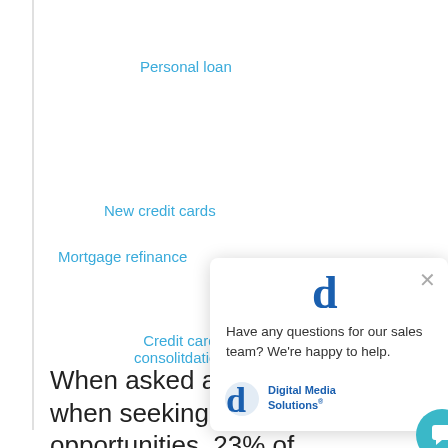Personal loan
New credit cards
Credit card consolitdation
Mortgage refinance
[Figure (screenshot): Chat popup overlay with Digital Media Solutions logo, close button (×), and text: Have any questions for our sales team? We're happy to help. Includes DMS logo and a teal chat bubble icon in the bottom right.]
When asked about priorities when seeking financing opportunities, 23% of